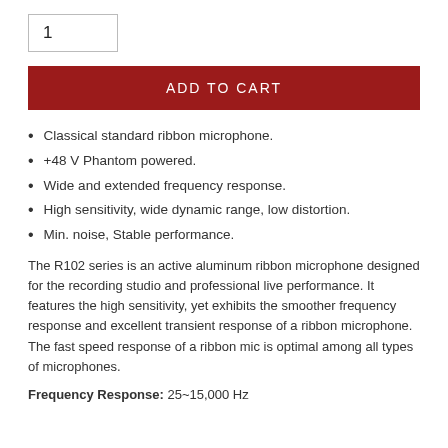1
ADD TO CART
Classical standard ribbon microphone.
+48 V Phantom powered.
Wide and extended frequency response.
High sensitivity, wide dynamic range, low distortion.
Min. noise, Stable performance.
The R102 series is an active aluminum ribbon microphone designed for the recording studio and professional live performance. It features the high sensitivity, yet exhibits the smoother frequency response and excellent transient response of a ribbon microphone. The fast speed response of a ribbon mic is optimal among all types of microphones.
Frequency Response: 25~15,000 Hz